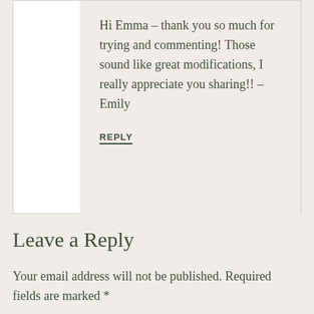Hi Emma – thank you so much for trying and commenting! Those sound like great modifications, I really appreciate you sharing!! – Emily
REPLY
Leave a Reply
Your email address will not be published. Required fields are marked *